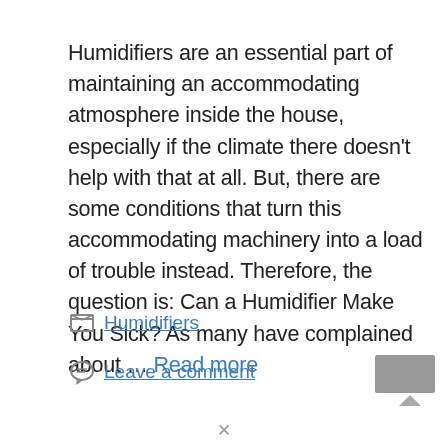Humidifiers are an essential part of maintaining an accommodating atmosphere inside the house, especially if the climate there doesn't help with that at all. But, there are some conditions that turn this accommodating machinery into a load of trouble instead. Therefore, the question is: Can a Humidifier Make You Sick? As many have complained about … Read more
Humidifiers
Leave a comment